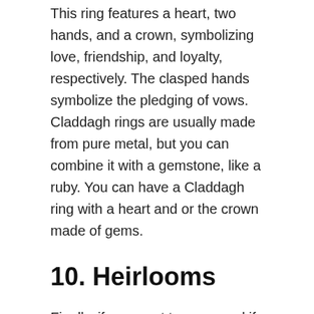This ring features a heart, two hands, and a crown, symbolizing love, friendship, and loyalty, respectively. The clasped hands symbolize the pledging of vows. Claddagh rings are usually made from pure metal, but you can combine it with a gemstone, like a ruby. You can have a Claddagh ring with a heart and or the crown made of gems.
10. Heirlooms
Finally, if you want to save, and if you have a family heirloom, it's a great ring to use for a proposal. Heirlooms can be much more meaningful to a girl, than just heading to the store and picking out something new. Every diamond ring that has been in the family for generations becomes a lot more special than a ring that is purchased. It represents the love your family has for the woman you want to